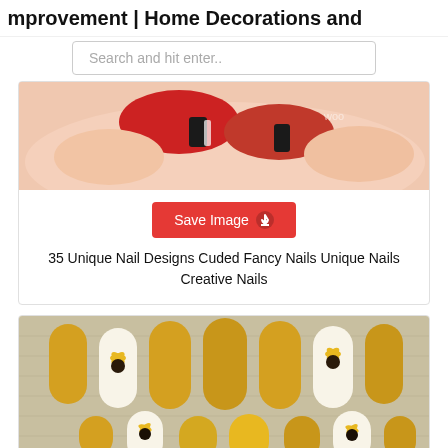mprovement | Home Decorations and...
[Figure (photo): Close-up photo of fingernails painted red and black with decorative nail art]
[Figure (other): Red Save Image button with download icon]
35 Unique Nail Designs Cuded Fancy Nails Unique Nails Creative Nails
[Figure (photo): Close-up photo of yellow and white press-on nails with sunflower nail art designs on a textured fabric background]